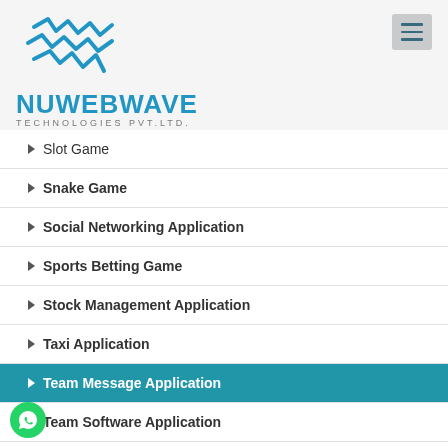[Figure (logo): NuWebWave Technologies Pvt. Ltd. logo with lightning bolt icon in blue and company name text]
Slot Game
Snake Game
Social Networking Application
Sports Betting Game
Stock Management Application
Taxi Application
Team Message Application
Team Software Application